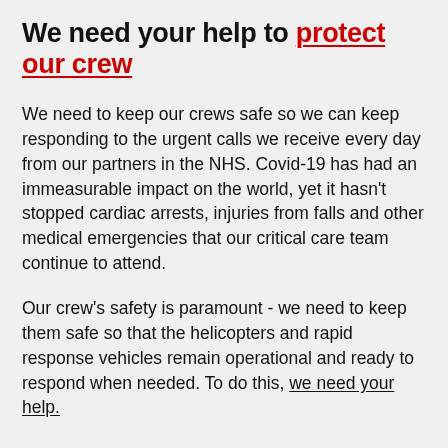We need your help to protect our crew
We need to keep our crews safe so we can keep responding to the urgent calls we receive every day from our partners in the NHS. Covid-19 has had an immeasurable impact on the world, yet it hasn't stopped cardiac arrests, injuries from falls and other medical emergencies that our critical care team continue to attend.
Our crew's safety is paramount - we need to keep them safe so that the helicopters and rapid response vehicles remain operational and ready to respond when needed. To do this, we need your help.